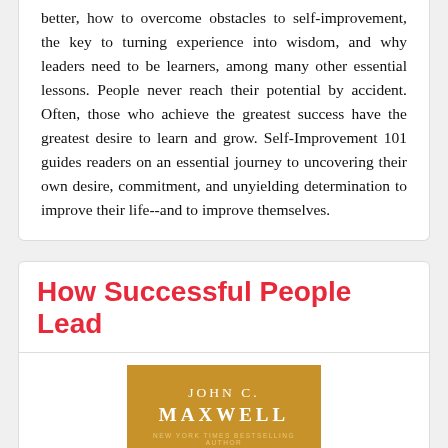better, how to overcome obstacles to self-improvement, the key to turning experience into wisdom, and why leaders need to be learners, among many other essential lessons. People never reach their potential by accident. Often, those who achieve the greatest success have the greatest desire to learn and grow. Self-Improvement 101 guides readers on an essential journey to uncovering their own desire, commitment, and unyielding determination to improve their life--and to improve themselves.
How Successful People Lead
[Figure (illustration): Book cover image showing author name JOHN C. MAXWELL on a golden/tan background with subtitle NEW YORK TIMES BESTSELLING AUTHOR]